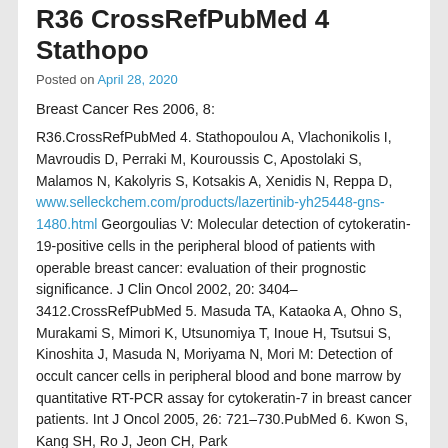R36 CrossRefPubMed 4 Stathopo
Posted on April 28, 2020
Breast Cancer Res 2006, 8:
R36.CrossRefPubMed 4. Stathopoulou A, Vlachonikolis I, Mavroudis D, Perraki M, Kouroussis C, Apostolaki S, Malamos N, Kakolyris S, Kotsakis A, Xenidis N, Reppa D, www.selleckchem.com/products/lazertinib-yh25448-gns-1480.html Georgoulias V: Molecular detection of cytokeratin-19-positive cells in the peripheral blood of patients with operable breast cancer: evaluation of their prognostic significance. J Clin Oncol 2002, 20: 3404–3412.CrossRefPubMed 5. Masuda TA, Kataoka A, Ohno S, Murakami S, Mimori K, Utsunomiya T, Inoue H, Tsutsui S, Kinoshita J, Masuda N, Moriyama N, Mori M: Detection of occult cancer cells in peripheral blood and bone marrow by quantitative RT-PCR assay for cytokeratin-7 in breast cancer patients. Int J Oncol 2005, 26: 721–730.PubMed 6. Kwon S, Kang SH, Ro J, Jeon CH, Park